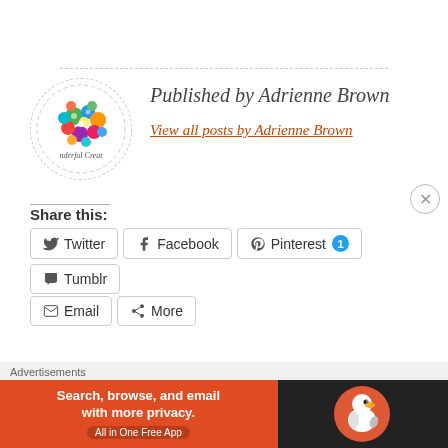[Figure (logo): Circular avatar with colorful flower/button cluster illustration and text 'nderful Creat' (Wonderful Creations logo)]
Published by Adrienne Brown
View all posts by Adrienne Brown
Share this:
Twitter
Facebook
Pinterest 1
Tumblr
Email
More
Like this:
Loading...
Advertisements
[Figure (infographic): DuckDuckGo advertisement banner: 'Search, browse, and email with more privacy. All in One Free App' on orange background with DuckDuckGo duck logo on dark background]